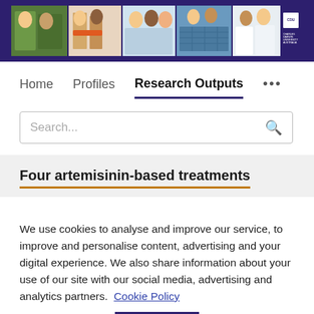[Figure (photo): Charles Darwin University banner with multiple photos of people doing research and outdoor activities, with CDU logo on right]
Home   Profiles   Research Outputs   ...
Search...
Four artemisinin-based treatments
We use cookies to analyse and improve our service, to improve and personalise content, advertising and your digital experience. We also share information about your use of our site with our social media, advertising and analytics partners.  Cookie Policy